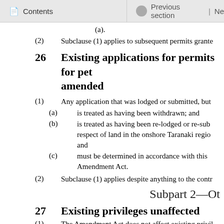Contents | Previous section | Ne
(a).
(2)   Subclause (1) applies to subsequent permits grante
26   Existing applications for permits for pet amended
(1)   Any application that was lodged or submitted, but
(a)   is treated as having been withdrawn; and
(b)   is treated as having been re-lodged or re-sub respect of land in the onshore Taranaki regio and
(c)   must be determined in accordance with this Amendment Act.
(2)   Subclause (1) applies despite anything to the contr
Subpart 2—Ot
27   Existing privileges unaffected
(1)   The Amendment Act does not affect existing privil